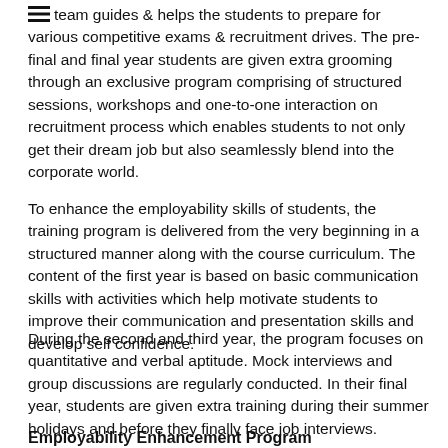the team guides & helps the students to prepare for various competitive exams & recruitment drives. The pre-final and final year students are given extra grooming through an exclusive program comprising of structured sessions, workshops and one-to-one interaction on recruitment process which enables students to not only get their dream job but also seamlessly blend into the corporate world.
To enhance the employability skills of students, the training program is delivered from the very beginning in a structured manner along with the course curriculum. The content of the first year is based on basic communication skills with activities which help motivate students to improve their communication and presentation skills and develop self confidence.
During the second and third year, the program focuses on quantitative and verbal aptitude. Mock interviews and group discussions are regularly conducted. In their final year, students are given extra training during their summer holidays and before they finally face job interviews.
Employability Enhancement Program